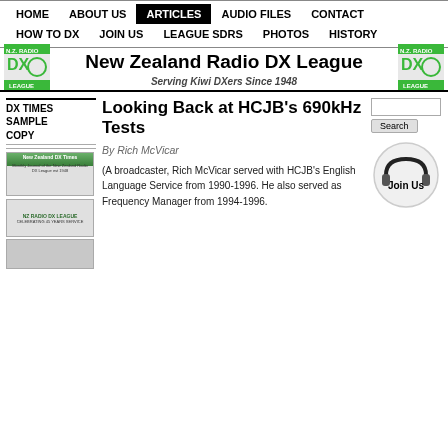HOME | ABOUT US | ARTICLES | AUDIO FILES | CONTACT | HOW TO DX | JOIN US | LEAGUE SDRS | PHOTOS | HISTORY
New Zealand Radio DX League — Serving Kiwi DXers Since 1948
DX TIMES SAMPLE COPY
Looking Back at HCJB's 690kHz Tests
By Rich McVicar
(A broadcaster, Rich McVicar served with HCJB's English Language Service from 1990-1996. He also served as Frequency Manager from 1994-1996.